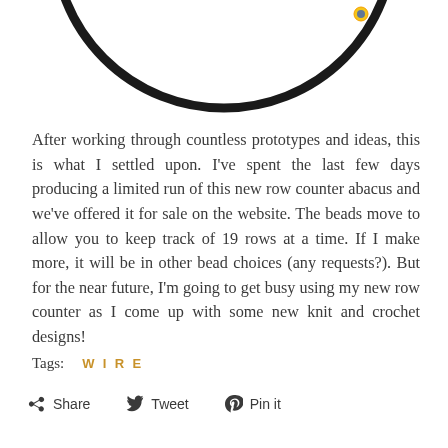[Figure (photo): Partial view of a black wire ring/abacus row counter with a small colorful bead, shown from above on a white background. Only the top arc portion is visible.]
After working through countless prototypes and ideas, this is what I settled upon. I've spent the last few days producing a limited run of this new row counter abacus and we've offered it for sale on the website. The beads move to allow you to keep track of 19 rows at a time. If I make more, it will be in other bead choices (any requests?). But for the near future, I'm going to get busy using my new row counter as I come up with some new knit and crochet designs!
Tags:  WIRE
Share  Tweet  Pin it